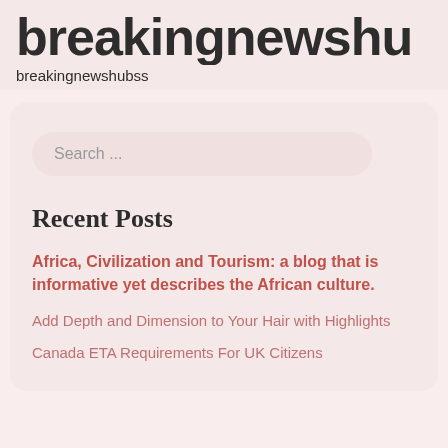breakingnewshu
breakingnewshubss
[Figure (screenshot): Search input field with placeholder text 'Search ...' in a rounded pill-shaped input box]
Recent Posts
Africa, Civilization and Tourism: a blog that is informative yet describes the African culture.
Add Depth and Dimension to Your Hair with Highlights
Canada ETA Requirements For UK Citizens